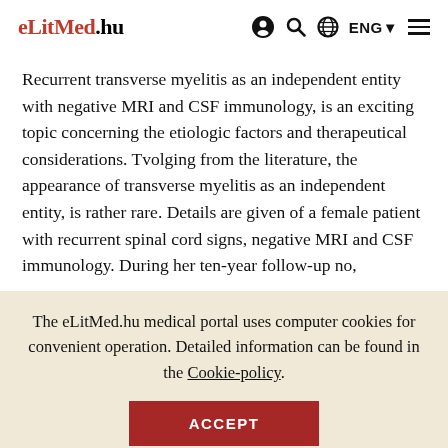eLitMed.hu | ENG | [icons: user, search, globe, menu]
Recurrent transverse myelitis as an independent entity with negative MRI and CSF immunology, is an exciting topic concerning the etiologic factors and therapeutical considerations. Tvolging from the literature, the appearance of transverse myelitis as an independent entity, is rather rare. Details are given of a female patient with recurrent spinal cord signs, negative MRI and CSF immunology. During her ten-year follow-up no,
The eLitMed.hu medical portal uses computer cookies for convenient operation. Detailed information can be found in the Cookie-policy.
ACCEPT